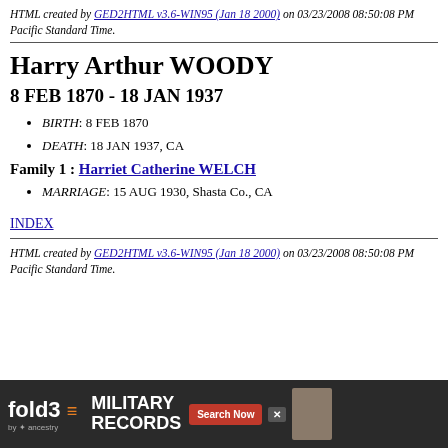HTML created by GED2HTML v3.6-WIN95 (Jan 18 2000) on 03/23/2008 08:50:08 PM Pacific Standard Time.
Harry Arthur WOODY
8 FEB 1870 - 18 JAN 1937
BIRTH: 8 FEB 1870
DEATH: 18 JAN 1937, CA
Family 1 : Harriet Catherine WELCH
MARRIAGE: 15 AUG 1930, Shasta Co., CA
INDEX
HTML created by GED2HTML v3.6-WIN95 (Jan 18 2000) on 03/23/2008 08:50:08 PM Pacific Standard Time.
[Figure (other): fold3 by Ancestry advertisement banner for Military Records with Search Now button]